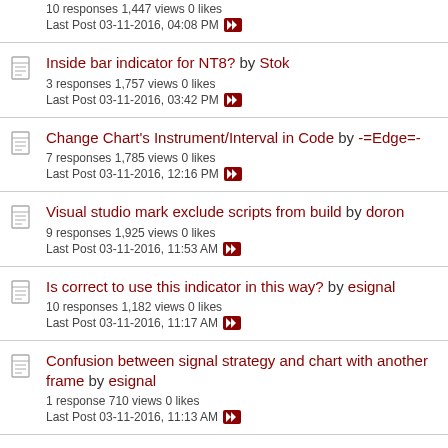10 responses 1,447 views 0 likes
Last Post 03-11-2016, 04:08 PM
Inside bar indicator for NT8? by Stok
3 responses 1,757 views 0 likes
Last Post 03-11-2016, 03:42 PM
Change Chart's Instrument/Interval in Code by -=Edge=-
7 responses 1,785 views 0 likes
Last Post 03-11-2016, 12:16 PM
Visual studio mark exclude scripts from build by doron
9 responses 1,925 views 0 likes
Last Post 03-11-2016, 11:53 AM
Is correct to use this indicator in this way? by esignal
10 responses 1,182 views 0 likes
Last Post 03-11-2016, 11:17 AM
Confusion between signal strategy and chart with another frame by esignal
1 response 710 views 0 likes
Last Post 03-11-2016, 11:13 AM
RpL not working properly by omerybu